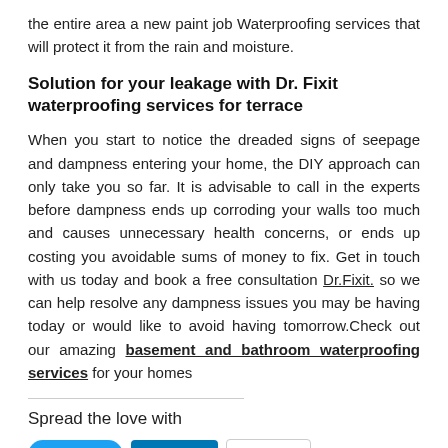the entire area a new paint job Waterproofing services that will protect it from the rain and moisture.
Solution for your leakage with Dr. Fixit waterproofing services for terrace
When you start to notice the dreaded signs of seepage and dampness entering your home, the DIY approach can only take you so far. It is advisable to call in the experts before dampness ends up corroding your walls too much and causes unnecessary health concerns, or ends up costing you avoidable sums of money to fix. Get in touch with us today and book a free consultation Dr.Fixit. so we can help resolve any dampness issues you may be having today or would like to avoid having tomorrow.Check out our amazing basement and bathroom waterproofing services for your homes
Spread the love with
[Figure (other): Social sharing buttons: Tweet (Twitter), Share (LinkedIn), Email]